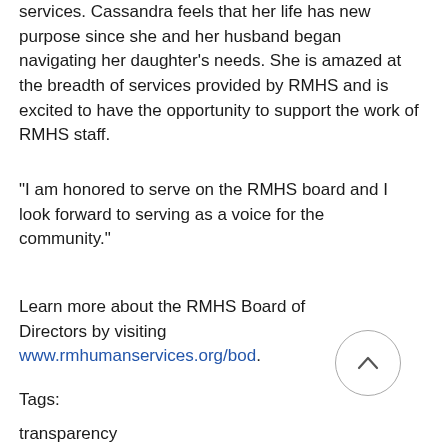services. Cassandra feels that her life has new purpose since she and her husband began navigating her daughter's needs. She is amazed at the breadth of services provided by RMHS and is excited to have the opportunity to support the work of RMHS staff.
"I am honored to serve on the RMHS board and I look forward to serving as a voice for the community."
Learn more about the RMHS Board of Directors by visiting www.rmhumanservices.org/bod.
Tags:
transparency